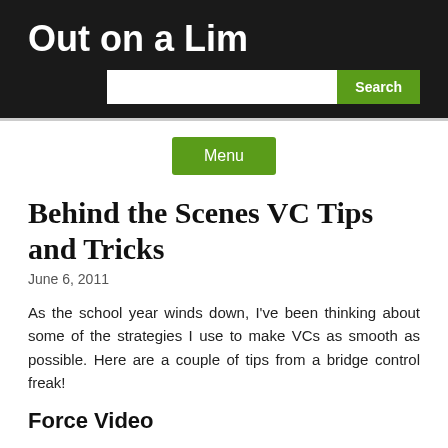Out on a Lim
Behind the Scenes VC Tips and Tricks
June 6, 2011
As the school year winds down, I've been thinking about some of the strategies I use to make VCs as smooth as possible. Here are a couple of tips from a bridge control freak!
Force Video
When facilitating an ASK program with Janie Panagopoulos (a veteran VC-er), I forced the video to the school that came in late so she could see a new site. Then I quickly forced it back to her. Now she's looking at the new school; and the other schools only saw a quick blip of that school coming in. Without interrupting